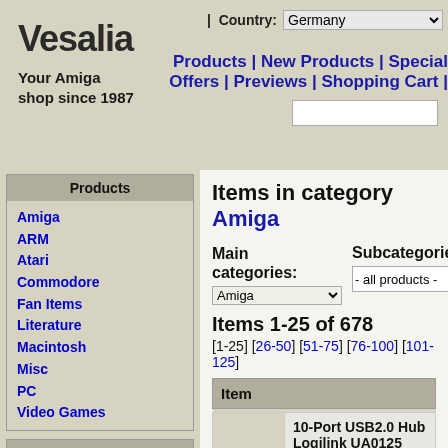Vesalia
Your Amiga shop since 1987
| Country: Germany | Products | New Products | Special Offers | Previews | Shopping Cart |
| Products |
| --- |
| Amiga |
| ARM |
| Atari |
| Commodore |
| Fan Items |
| Literature |
| Macintosh |
| Misc |
| PC |
| Video Games |
| Browse |
| --- |
| Products |
| New Products |
| Special Offers |
| Clearance |
| Previews |
Items in category Amiga
Main categories: Amiga | Subcategories: - all products -
Items 1-25 of 678
[1-25] [26-50] [51-75] [76-100] [101-125]
| Item |
| --- |
| 10-Port USB2.0 Hub Logilink UA0125 incl. External Power Supply | German product information / |